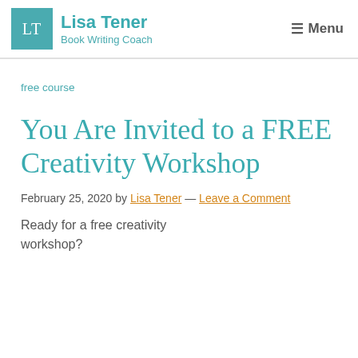Lisa Tener — Book Writing Coach — Menu
free course
You Are Invited to a FREE Creativity Workshop
February 25, 2020 by Lisa Tener — Leave a Comment
Ready for a free creativity workshop?